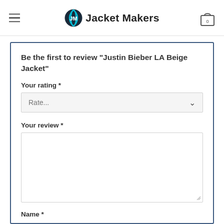Jacket Makers
Be the first to review “Justin Bieber LA Beige Jacket”
Your rating *
Rate...
Your review *
Name *